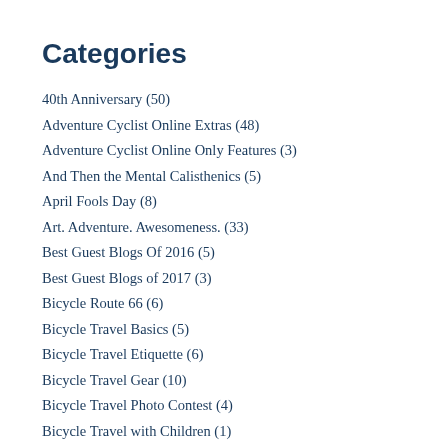Categories
40th Anniversary (50)
Adventure Cyclist Online Extras (48)
Adventure Cyclist Online Only Features (3)
And Then the Mental Calisthenics (5)
April Fools Day (8)
Art. Adventure. Awesomeness. (33)
Best Guest Blogs Of 2016 (5)
Best Guest Blogs of 2017 (3)
Bicycle Route 66 (6)
Bicycle Travel Basics (5)
Bicycle Travel Etiquette (6)
Bicycle Travel Gear (10)
Bicycle Travel Photo Contest (4)
Bicycle Travel with Children (1)
Bicycles: Maintenance & Technical (12)
Bicycles: Selection (10)
Bike & Gear Reviews (20)